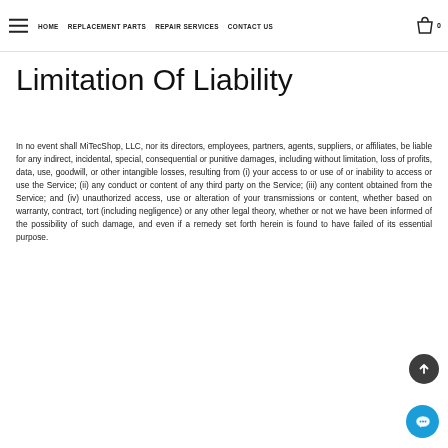HOME   REPLACEMENT PARTS   REPAIR SERVICES   CONTACT US
Limitation Of Liability
In no event shall MiTecShop, LLC, nor its directors, employees, partners, agents, suppliers, or affiliates, be liable for any indirect, incidental, special, consequential or punitive damages, including without limitation, loss of profits, data, use, goodwill, or other intangible losses, resulting from (i) your access to or use of or inability to access or use the Service; (ii) any conduct or content of any third party on the Service; (iii) any content obtained from the Service; and (iv) unauthorized access, use or alteration of your transmissions or content, whether based on warranty, contract, tort (including negligence) or any other legal theory, whether or not we have been informed of the possibility of such damage, and even if a remedy set forth herein is found to have failed of its essential purpose.